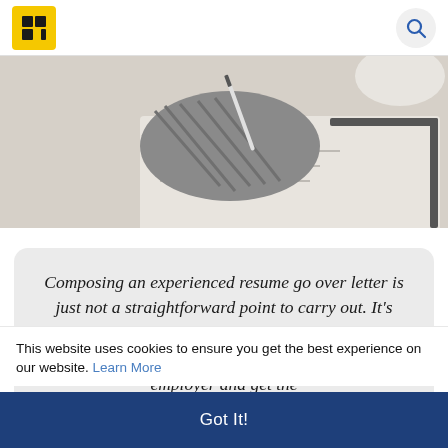[Logo] [Search icon]
[Figure (photo): Close-up of a person's hand wearing a knit sweater, writing on paper on a clipboard, with a desk lamp in the background.]
Composing an experienced resume go over letter is just not a straightforward point to carry out. It's going to take a great deal of effort and perseverance to craft a doc that can impress your possible employer and get the
This website uses cookies to ensure you get the best experience on our website. Learn More
Got It!